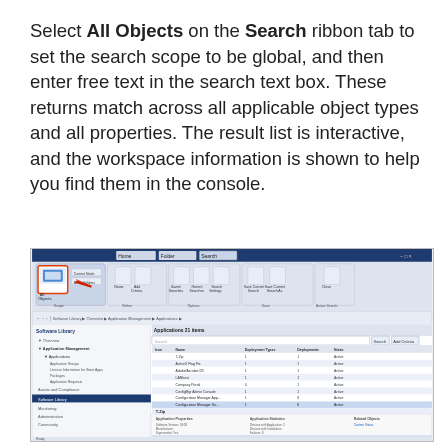Select All Objects on the Search ribbon tab to set the search scope to be global, and then enter free text in the search text box. These returns match across all applicable object types and all properties. The result list is interactive, and the workspace information is shown to help you find them in the console.
[Figure (screenshot): Screenshot of System Center Configuration Manager console showing the Search ribbon tab with 'All Objects' button highlighted by a red arrow, and a list of applications in the Software Library workspace including 7-Zip, ActiveX Flag Fix, Adobe/Acrobat DC, LANHost, Company Portal, Configmgr Admin Console, Configuration Manager apps, with application properties panel at the bottom.]